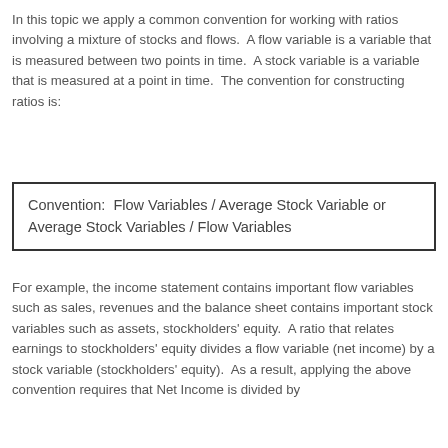In this topic we apply a common convention for working with ratios involving a mixture of stocks and flows.  A flow variable is a variable that is measured between two points in time.  A stock variable is a variable that is measured at a point in time.  The convention for constructing ratios is:
Convention:  Flow Variables / Average Stock Variable or Average Stock Variables / Flow Variables
For example, the income statement contains important flow variables such as sales, revenues and the balance sheet contains important stock variables such as assets, stockholders' equity.  A ratio that relates earnings to stockholders' equity divides a flow variable (net income) by a stock variable (stockholders' equity).  As a result, applying the above convention requires that Net Income is divided by